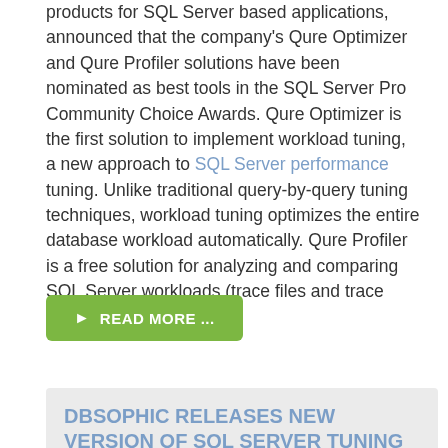products for SQL Server based applications, announced that the company's Qure Optimizer and Qure Profiler solutions have been nominated as best tools in the SQL Server Pro Community Choice Awards. Qure Optimizer is the first solution to implement workload tuning, a new approach to SQL Server performance tuning. Unlike traditional query-by-query tuning techniques, workload tuning optimizes the entire database workload automatically. Qure Profiler is a free solution for analyzing and comparing SQL Server workloads (trace files and trace tables).
READ MORE ...
DBSOPHIC RELEASES NEW VERSION OF SQL SERVER TUNING